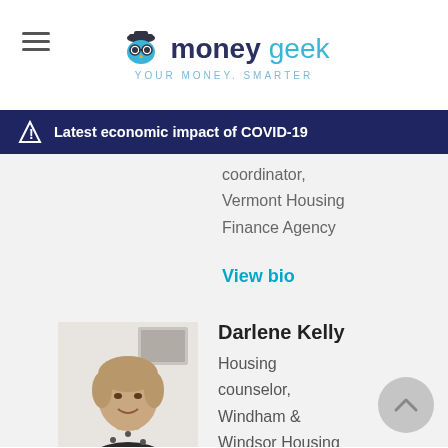moneygeek — YOUR MONEY. SMARTER
Latest economic impact of COVID-19
coordinator, Vermont Housing Finance Agency
View bio
[Figure (photo): Headshot of Darlene Kelly]
Darlene Kelly
Housing counselor, Windham & Windsor Housing Trust, Burlington
View bio